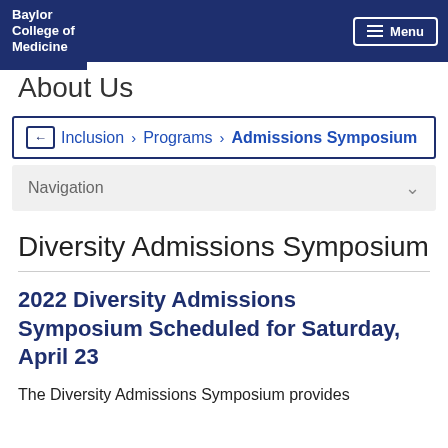Baylor College of Medicine | Menu
About Us
Inclusion > Programs > Admissions Symposium
Navigation
Diversity Admissions Symposium
2022 Diversity Admissions Symposium Scheduled for Saturday, April 23
The Diversity Admissions Symposium provides